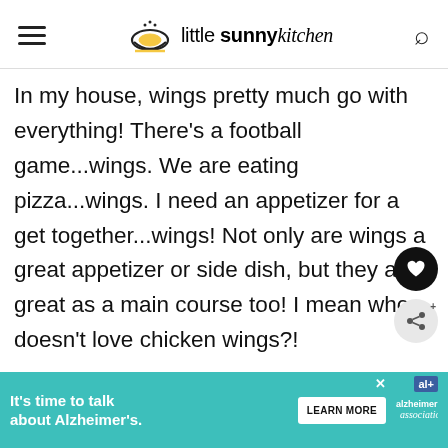little sunny kitchen
In my house, wings pretty much go with everything! There's a football game...wings. We are eating pizza...wings. I need an appetizer for a get together...wings! Not only are wings a great appetizer or side dish, but they are great as a main course too! I mean who doesn't love chicken wings?!
This recipe is fabulous for busy days when you
[Figure (infographic): Ad banner: teal background, text 'It's time to talk about Alzheimer's.' with a Learn More button and Alzheimer's Association logo]